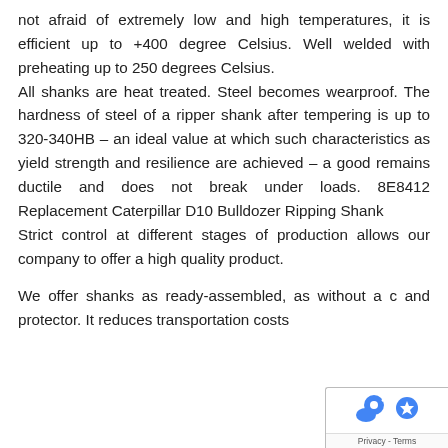not afraid of extremely low and high temperatures, it is efficient up to +400 degree Celsius. Well welded with preheating up to 250 degrees Celsius. All shanks are heat treated. Steel becomes wearproof. The hardness of steel of a ripper shank after tempering is up to 320-340HB – an ideal value at which such characteristics as yield strength and resilience are achieved – a good remains ductile and does not break under loads. 8E8412 Replacement Caterpillar D10 Bulldozer Ripping Shank Strict control at different stages of production allows our company to offer a high quality product.

We offer shanks as ready-assembled, as without a c and protector. It reduces transportation costs
[Figure (other): Privacy & Terms reCAPTCHA badge partially overlapping the bottom-right corner of the page]